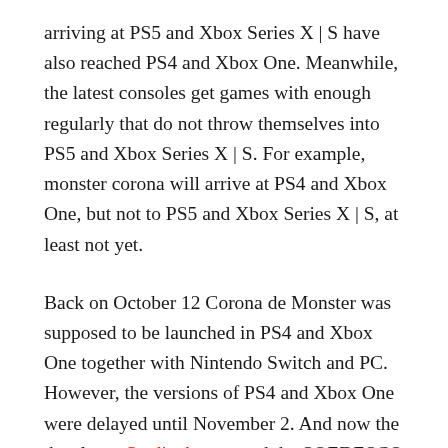arriving at PS5 and Xbox Series X | S have also reached PS4 and Xbox One. Meanwhile, the latest consoles get games with enough regularly that do not throw themselves into PS5 and Xbox Series X | S. For example, monster corona will arrive at PS4 and Xbox One, but not to PS5 and Xbox Series X | S, at least not yet.
Back on October 12 Corona de Monster was supposed to be launched in PS4 and Xbox One together with Nintendo Switch and PC. However, the versions of PS4 and Xbox One were delayed until November 2. And now the developer Studio Aurum and the SOEDESCO editor have announced that these versions have been delayed again. At the time of publication, there is no